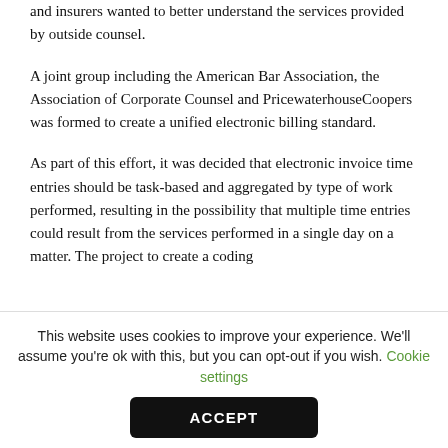and insurers wanted to better understand the services provided by outside counsel.
A joint group including the American Bar Association, the Association of Corporate Counsel and PricewaterhouseCoopers was formed to create a unified electronic billing standard.
As part of this effort, it was decided that electronic invoice time entries should be task-based and aggregated by type of work performed, resulting in the possibility that multiple time entries could result from the services performed in a single day on a matter. The project to create a coding
This website uses cookies to improve your experience. We'll assume you're ok with this, but you can opt-out if you wish. Cookie settings
ACCEPT